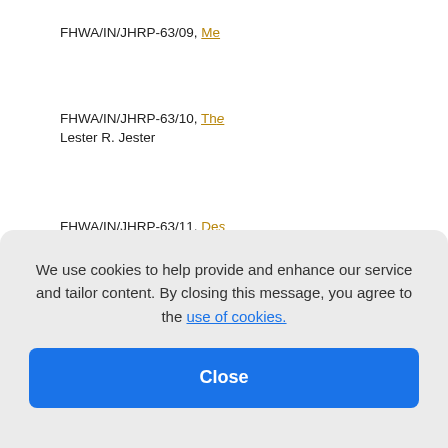FHWA/IN/JHRP-63/09, Me[…]
FHWA/IN/JHRP-63/10, The[…] Lester R. Jester
FHWA/IN/JHRP-63/11, De[…] Wu and J. W. Delleur
FHWA/IN/JHRP-63/12, The[…] Technical Paper, Steven Jo[…]
We use cookies to help provide and enhance our service and tailor content. By closing this message, you agree to the use of cookies.
·63/13, Str[…] port, John[…]
·63/14, Aer[…] ert Douglas[…]
·63/15, Hy[…] Flow, I-Pai Wu